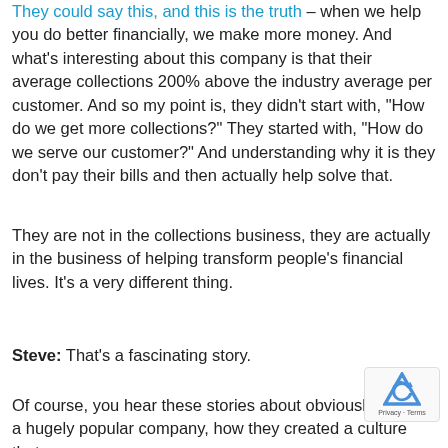They could say this, and this is the truth – when we help you do better financially, we make more money. And what's interesting about this company is that their average collections 200% above the industry average per customer. And so my point is, they didn't start with, "How do we get more collections?" They started with, "How do we serve our customer?" And understanding why it is they don't pay their bills and then actually help solve that.
They are not in the collections business, they are actually in the business of helping transform people's financial lives. It's a very different thing.
Steve: That's a fascinating story.
Of course, you hear these stories about obviously Zap… a hugely popular company, how they created a culture that